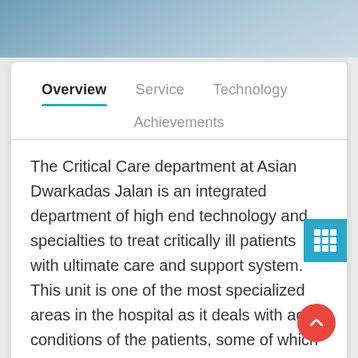[Figure (photo): Medical/hospital photo bar at top of page, showing blurred clinical environment]
Overview | Service | Technology | Achievements
The Critical Care department at Asian Dwarkadas Jalan is an integrated department of high end technology and specialties to treat critically ill patients with ultimate care and support system. This unit is one of the most specialized areas in the hospital as it deals with acute conditions of the patients, some of which are life threatening cases that need constant